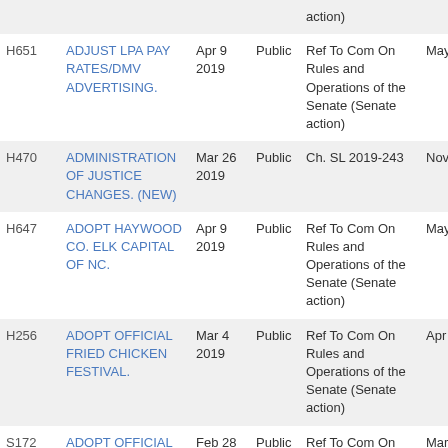| Bill | Title | Filed | Type | Last Action | Date |
| --- | --- | --- | --- | --- | --- |
|  |  |  |  | action) |  |
| H651 | ADJUST LPA PAY RATES/DMV ADVERTISING. | Apr 9 2019 | Public | Ref To Com On Rules and Operations of the Senate (Senate action) | May 7 2019 |
| H470 | ADMINISTRATION OF JUSTICE CHANGES. (NEW) | Mar 26 2019 | Public | Ch. SL 2019-243 | Nov 6 2019 |
| H647 | ADOPT HAYWOOD CO. ELK CAPITAL OF NC. | Apr 9 2019 | Public | Ref To Com On Rules and Operations of the Senate (Senate action) | May 7 2019 |
| H256 | ADOPT OFFICIAL FRIED CHICKEN FESTIVAL. | Mar 4 2019 | Public | Ref To Com On Rules and Operations of the Senate (Senate action) | Apr 30 2019 |
| S172 | ADOPT OFFICIAL STATE GOLD FESTIVAL. | Feb 28 | Public | Ref To Com On Rules and Operations of the | Mar 4 |